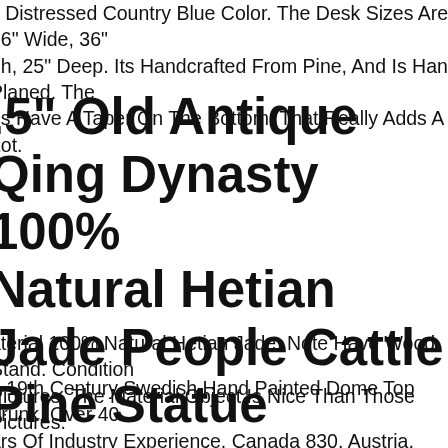y Distressed Country Blue Color. The Desk Sizes Are 36" Wide, 36" gh, 25" Deep. Its Handcrafted From Pine, And Is Hand Planed. The gs Have A Taper On The Bottom, That Really Adds A Lot.
.5" Old Antique Qing Dynasty 100% Natural Hetian Jade People Cattle Pine Statue
aterial 100% Natural Hetian Jade. Note Have Wood Stand. Condition Pictures. The Material Object Is Nice Than Those Pictures.
d 19th Century Swedish Hand Painted Dome Top Trunk. Over 40 ars Of Industry Experience. Canada 830. Austria, Belgium, Bulgaria, oatia, Czech Republic, Denmark, Estonia, Finland, France, Germany, eece, Hungary, Ireland, Italy, Latvia, Lithuania, Luxembourg, etherlands, Poland, Portugal, Romania, Slovakia, Slovenia, Spain, weden.